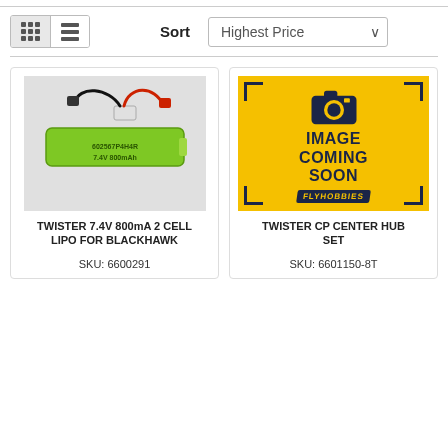Sort  Highest Price
[Figure (photo): Green LiPo battery labeled 602567P4H4R 7.4V 800mAh with red and black wires]
TWISTER 7.4V 800mA 2 CELL LIPO FOR BLACKHAWK
SKU: 6600291
[Figure (illustration): Yellow placeholder image with camera icon and text IMAGE COMING SOON with FlyHobbies brand badge]
TWISTER CP CENTER HUB SET
SKU: 6601150-8T